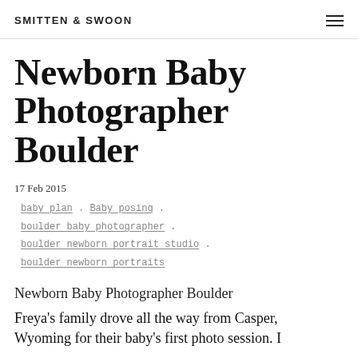SMITTEN & SWOON
Newborn Baby Photographer Boulder
17 Feb 2015
baby plan . Baby posing . boulder baby photographer . boulder newborn portrait studio . boulder newborn portraits
Newborn Baby Photographer Boulder
Freya's family drove all the way from Casper, Wyoming for their baby's first photo session. I